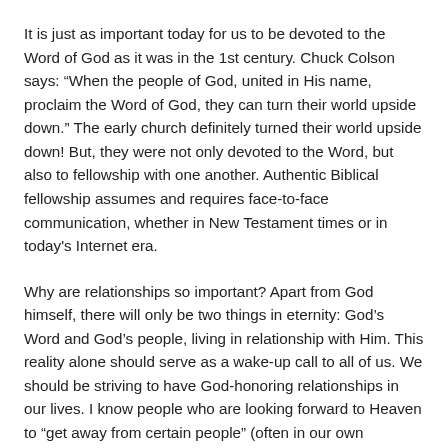It is just as important today for us to be devoted to the Word of God as it was in the 1st century. Chuck Colson says: “When the people of God, united in His name, proclaim the Word of God, they can turn their world upside down.” The early church definitely turned their world upside down! But, they were not only devoted to the Word, but also to fellowship with one another. Authentic Biblical fellowship assumes and requires face-to-face communication, whether in New Testament times or in today's Internet era.
Why are relationships so important? Apart from God himself, there will only be two things in eternity: God’s Word and God’s people, living in relationship with Him. This reality alone should serve as a wake-up call to all of us. We should be striving to have God-honoring relationships in our lives. I know people who are looking forward to Heaven to “get away from certain people” (often in our own churches). What they forget is that many of those people they are longing to escape from will be with them